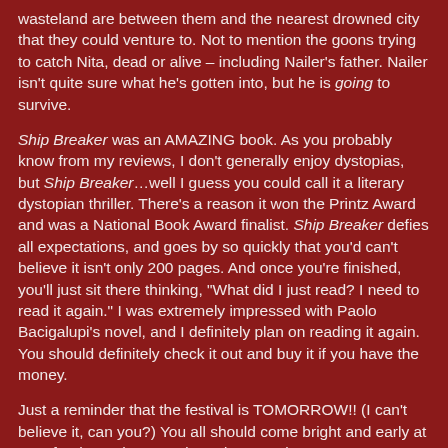wasteland are between them and the nearest drowned city that they could venture to. Not to mention the goons trying to catch Nita, dead or alive – including Nailer's father. Nailer isn't quite sure what he's gotten into, but he is going to survive.
Ship Breaker was an AMAZING book. As you probably know from my reviews, I don't generally enjoy dystopias, but Ship Breaker…well I guess you could call it a literary dystopian thriller. There's a reason it won the Printz Award and was a National Book Award finalist. Ship Breaker defies all expectations, and goes by so quickly that you'd can't believe it isn't only 200 pages. And once you're finished, you'll just sit there thinking, "What did I just read? I need to read it again." I was extremely impressed with Paolo Bacigalupi's novel, and I definitely plan on reading it again. You should definitely check it out and buy it if you have the money.
Just a reminder that the festival is TOMORROW!! (I can't believe it, can you?) You all should come bright and early at 8:45 for the author parade and stay as long as you can – you won't regret it. Can't wait to see you all there! :)